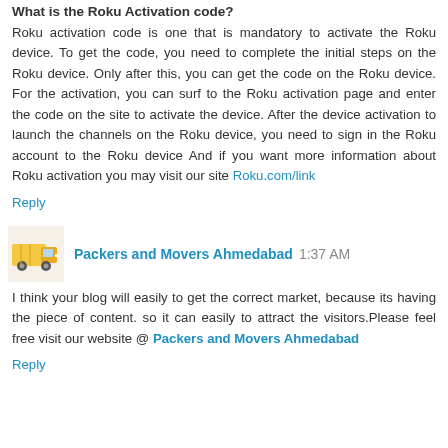What is the Roku Activation code?
Roku activation code is one that is mandatory to activate the Roku device. To get the code, you need to complete the initial steps on the Roku device. Only after this, you can get the code on the Roku device. For the activation, you can surf to the Roku activation page and enter the code on the site to activate the device. After the device activation to launch the channels on the Roku device, you need to sign in the Roku account to the Roku device And if you want more information about Roku activation you may visit our site Roku.com/link
Reply
Packers and Movers Ahmedabad 1:37 AM
I think your blog will easily to get the correct market, because its having the piece of content. so it can easily to attract the visitors.Please feel free visit our website @ Packers and Movers Ahmedabad
Reply